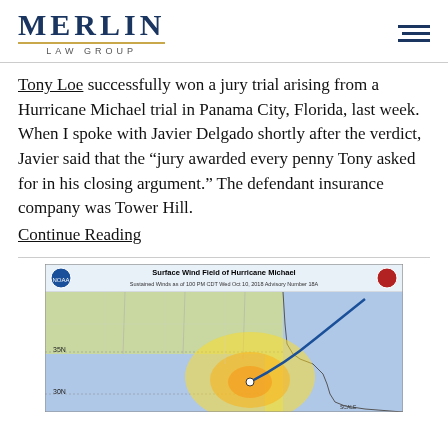MERLIN LAW GROUP
Tony Loe successfully won a jury trial arising from a Hurricane Michael trial in Panama City, Florida, last week. When I spoke with Javier Delgado shortly after the verdict, Javier said that the “jury awarded every penny Tony asked for in his closing argument.” The defendant insurance company was Tower Hill.
Continue Reading
[Figure (map): Surface Wind Field of Hurricane Michael — Sustained Winds as of 100 PM CDT Wed Oct 10, 2018, Advisory Number 18A. Map showing wind field with colored zones over southeastern United States coastline.]